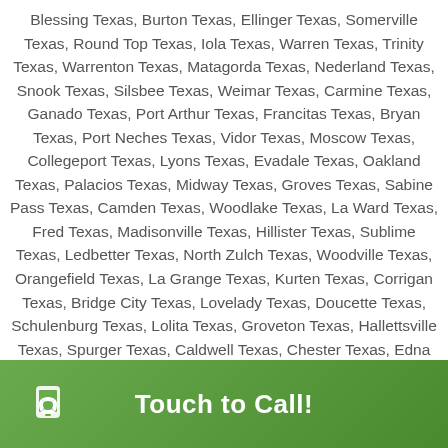Blessing Texas, Burton Texas, Ellinger Texas, Somerville Texas, Round Top Texas, Iola Texas, Warren Texas, Trinity Texas, Warrenton Texas, Matagorda Texas, Nederland Texas, Snook Texas, Silsbee Texas, Weimar Texas, Carmine Texas, Ganado Texas, Port Arthur Texas, Francitas Texas, Bryan Texas, Port Neches Texas, Vidor Texas, Moscow Texas, Collegeport Texas, Lyons Texas, Evadale Texas, Oakland Texas, Palacios Texas, Midway Texas, Groves Texas, Sabine Pass Texas, Camden Texas, Woodlake Texas, La Ward Texas, Fred Texas, Madisonville Texas, Hillister Texas, Sublime Texas, Ledbetter Texas, North Zulch Texas, Woodville Texas, Orangefield Texas, La Grange Texas, Kurten Texas, Corrigan Texas, Bridge City Texas, Lovelady Texas, Doucette Texas, Schulenburg Texas, Lolita Texas, Groveton Texas, Hallettsville Texas, Spurger Texas, Caldwell Texas, Chester Texas, Edna Texas, Mauriceville Texas, Warda Texas, Buna Texas, Deanville Texas, Orange Texas, Dime Box Texas, Giddings
Touch to Call!